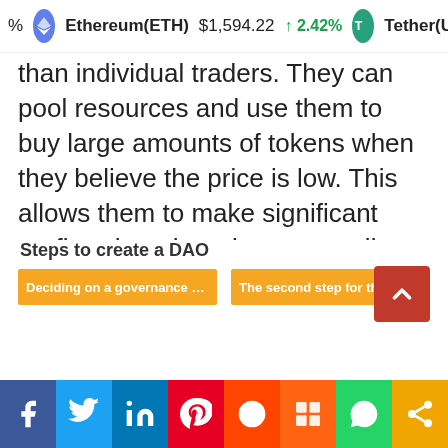% Ethereum(ETH) $1,594.22 ↑ 2.42% Tether(USDT) $1.00
than individual traders. They can pool resources and use them to buy large amounts of tokens when they believe the price is low. This allows them to make significant profits when the price eventually rises.
DAOs are also generally more transparent than traditional trader organizations. They often publish their trading strategies and results openly, building trust among their members and allowing others to learn from their successes and failures.
Steps to create a DAO